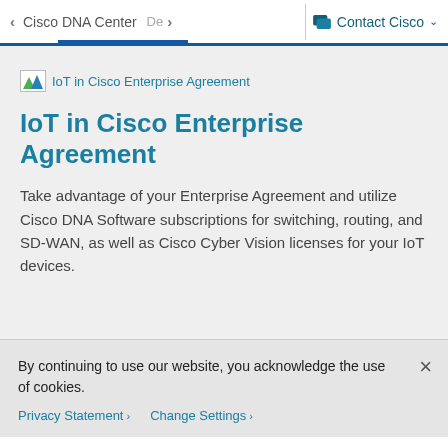< Cisco DNA Center  De >   Contact Cisco v
[Figure (logo): Small image placeholder icon with green and blue triangles]
IoT in Cisco Enterprise Agreement
IoT in Cisco Enterprise Agreement
Take advantage of your Enterprise Agreement and utilize Cisco DNA Software subscriptions for switching, routing, and SD-WAN, as well as Cisco Cyber Vision licenses for your IoT devices.
By continuing to use our website, you acknowledge the use of cookies.
Privacy Statement >   Change Settings >